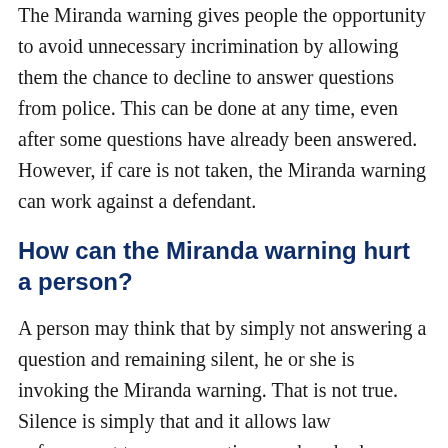The Miranda warning gives people the opportunity to avoid unnecessary incrimination by allowing them the chance to decline to answer questions from police. This can be done at any time, even after some questions have already been answered. However, if care is not taken, the Miranda warning can work against a defendant.
How can the Miranda warning hurt a person?
A person may think that by simply not answering a question and remaining silent, he or she is invoking the Miranda warning. That is not true. Silence is simply that and it allows law enforcement to use any actions such as body language and head nods and more can all be utilized in court. It is only when a